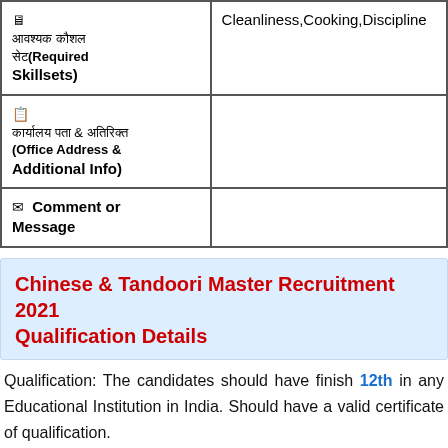| 🖥 आवश्यक कौशल सेट(Required Skillsets) | Cleanliness,Cooking,Discipline |
| 📋 कार्यालय पता & अतिरिक्त जानकारी(Office Address & Additional Info) |  |
| ✉ Comment or Message |  |
Chinese & Tandoori Master Recruitment 2021 Qualification Details
Qualification: The candidates should have finish 12th in any Educational Institution in India. Should have a valid certificate of qualification.
Age limit: